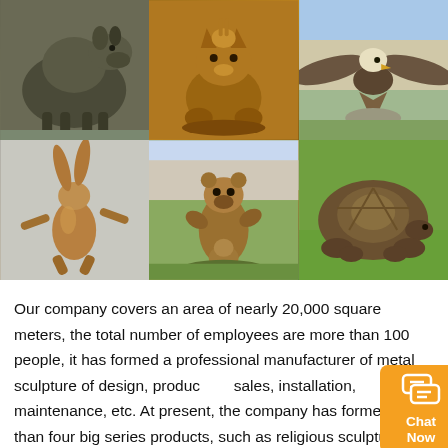[Figure (photo): A 3x2 grid of six bronze animal sculptures: top row shows a dog/wolf sculpture, a rabbit-and-cat bronze, and an eagle with spread wings; bottom row shows a dancing hare sculpture, a group of bear sculptures outdoors, and a large tortoise sculpture on grass.]
Our company covers an area of nearly 20,000 square meters, the total number of employees are more than 100 people, it has formed a professional manufacturer of metal sculpture of design, production, sales, installation, maintenance, etc. At present, the company has formed more than four big series products, such as religious sculpture